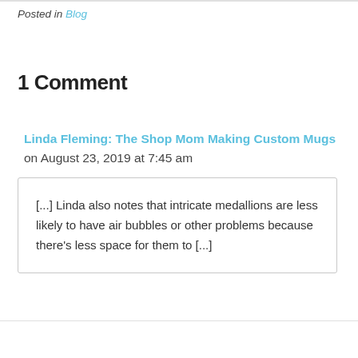Posted in Blog
1 Comment
Linda Fleming: The Shop Mom Making Custom Mugs on August 23, 2019 at 7:45 am
[...] Linda also notes that intricate medallions are less likely to have air bubbles or other problems because there’s less space for them to [...]